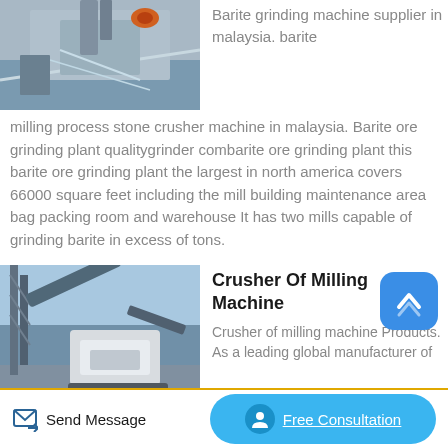[Figure (photo): Industrial barite grinding or milling process, water/slurry flowing over stone crusher equipment]
Barite grinding machine supplier in malaysia. barite milling process stone crusher machine in malaysia. Barite ore grinding plant qualitygrinder combarite ore grinding plant this barite ore grinding plant the largest in north america covers 66000 square feet including the mill building maintenance area bag packing room and warehouse It has two mills capable of grinding barite in excess of tons.
[Figure (photo): Large industrial crusher or milling machine on a construction/mining site, with metal structures and blue sky in background]
Crusher Of Milling Machine
Crusher of milling machine Products. As a leading global manufacturer of
Send Message   Free Consultation